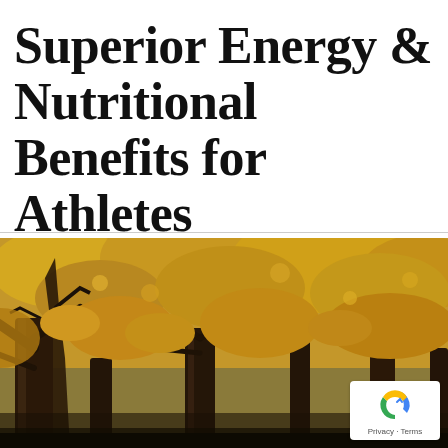Superior Energy & Nutritional Benefits for Athletes
[Figure (photo): Autumn forest scene with tall trees and golden-yellow foliage, dark trunks, photographed from ground level looking upward through the canopy]